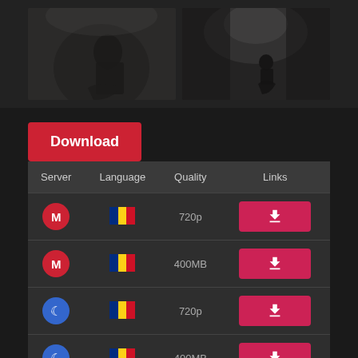[Figure (photo): Two dark, atmospheric movie scene screenshots side by side showing a figure in a rocking chair in a dimly lit room]
Download
| Server | Language | Quality | Links |
| --- | --- | --- | --- |
| M (mega) | Romanian flag | 720p | download |
| M (mega) | Romanian flag | 400MB | download |
| L (cloud) | Romanian flag | 720p | download |
| L (cloud) | Romanian flag | 400MB | download |